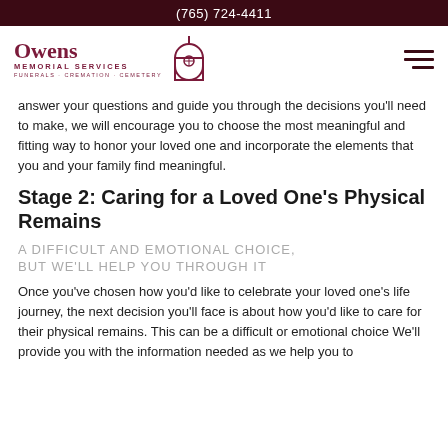(765) 724-4411
[Figure (logo): Owens Memorial Services logo with chapel icon. Text: Owens Memorial Services, Funerals · Cremation · Cemetery]
answer your questions and guide you through the decisions you'll need to make, we will encourage you to choose the most meaningful and fitting way to honor your loved one and incorporate the elements that you and your family find meaningful.
Stage 2: Caring for a Loved One's Physical Remains
A DIFFICULT AND EMOTIONAL CHOICE, BUT WE'LL HELP YOU THROUGH IT
Once you've chosen how you'd like to celebrate your loved one's life journey, the next decision you'll face is about how you'd like to care for their physical remains. This can be a difficult or emotional choice We'll provide you with the information needed as we help you to